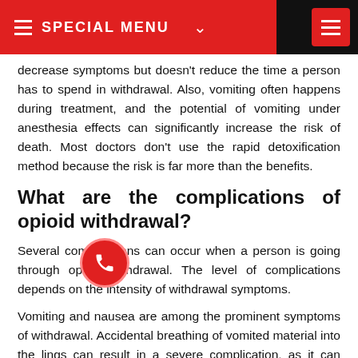SPECIAL MENU
decrease symptoms but doesn't reduce the time a person has to spend in withdrawal. Also, vomiting often happens during treatment, and the potential of vomiting under anesthesia effects can significantly increase the risk of death. Most doctors don't use the rapid detoxification method because the risk is far more than the benefits.
What are the complications of opioid withdrawal?
Several complications can occur when a person is going through opioid withdrawal. The level of complications depends on the intensity of withdrawal symptoms.
Vomiting and nausea are among the prominent symptoms of withdrawal. Accidental breathing of vomited material into the lings can result in a severe complication, as it can result in the development of aspiration pneumonia.